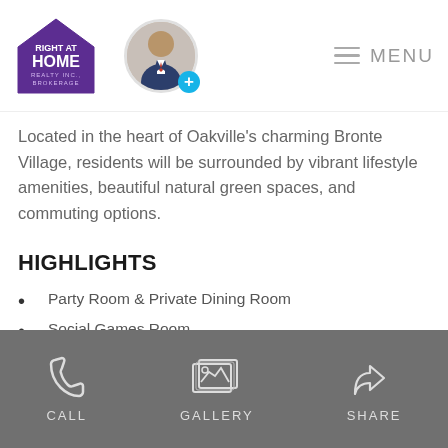Right at Home Realty — MENU header with agent avatar
Located in the heart of Oakville's charming Bronte Village, residents will be surrounded by vibrant lifestyle amenities, beautiful natural green spaces, and commuting options.
HIGHLIGHTS
Party Room & Private Dining Room
Social Games Room
Lobby Lounge
Fitness Center
Conference Area
Tech Lounge
Fireside Lounge
CALL  GALLERY  SHARE